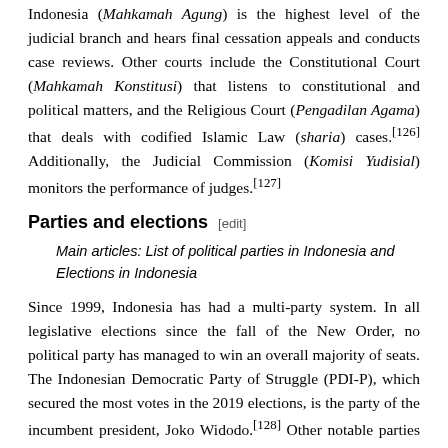Indonesia (Mahkamah Agung) is the highest level of the judicial branch and hears final cessation appeals and conducts case reviews. Other courts include the Constitutional Court (Mahkamah Konstitusi) that listens to constitutional and political matters, and the Religious Court (Pengadilan Agama) that deals with codified Islamic Law (sharia) cases.[126] Additionally, the Judicial Commission (Komisi Yudisial) monitors the performance of judges.[127]
Parties and elections [edit]
Main articles: List of political parties in Indonesia and Elections in Indonesia
Since 1999, Indonesia has had a multi-party system. In all legislative elections since the fall of the New Order, no political party has managed to win an overall majority of seats. The Indonesian Democratic Party of Struggle (PDI-P), which secured the most votes in the 2019 elections, is the party of the incumbent president, Joko Widodo.[128] Other notable parties include the Party of the Functional Groups (Golkar), the Great Indonesia Movement Party (Gerindra), the Democratic Party, and the Prosperous Justice Party (PKS).